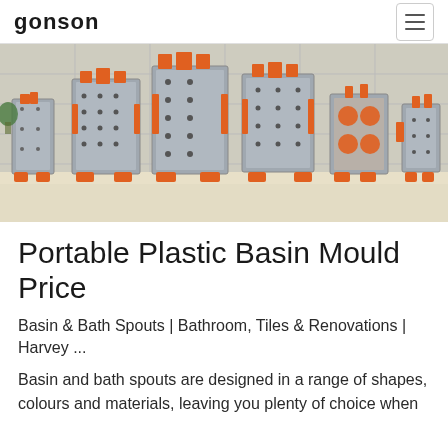GONSON
[Figure (photo): Industrial plastic injection moulds displayed in a row in a factory/showroom setting. Multiple large metal mould assemblies with orange supporting feet/bases are arranged side by side. The moulds appear to be multi-cavity types with silver/grey metallic surfaces and orange mechanical components.]
Portable Plastic Basin Mould Price
Basin & Bath Spouts | Bathroom, Tiles & Renovations | Harvey ...
Basin and bath spouts are designed in a range of shapes, colours and materials, leaving you plenty of choice when